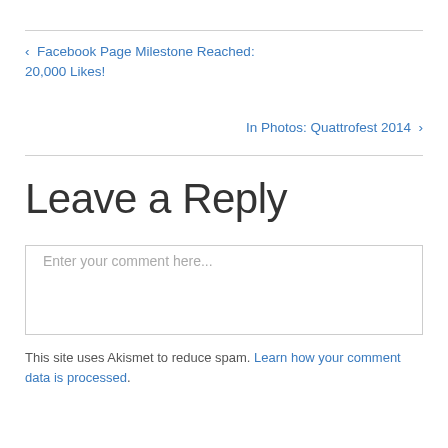‹ Facebook Page Milestone Reached: 20,000 Likes!
In Photos: Quattrofest 2014 ›
Leave a Reply
Enter your comment here...
This site uses Akismet to reduce spam. Learn how your comment data is processed.